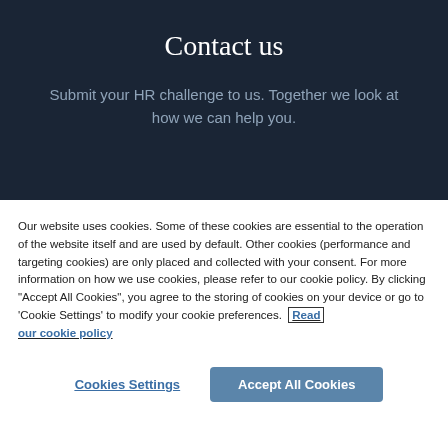Contact us
Submit your HR challenge to us. Together we look at how we can help you.
Our website uses cookies. Some of these cookies are essential to the operation of the website itself and are used by default. Other cookies (performance and targeting cookies) are only placed and collected with your consent. For more information on how we use cookies, please refer to our cookie policy. By clicking “Accept All Cookies”, you agree to the storing of cookies on your device or go to ‘Cookie Settings’ to modify your cookie preferences. Read our cookie policy
Cookies Settings
Accept All Cookies